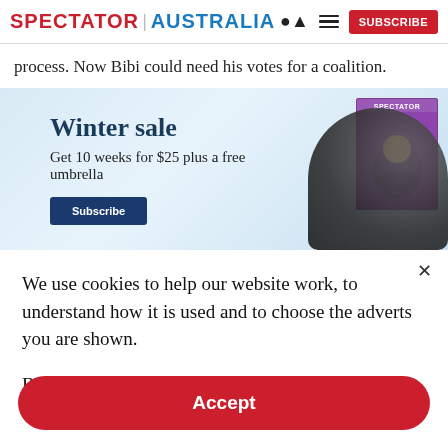SPECTATOR | AUSTRALIA
process. Now Bibi could need his votes for a coalition.
[Figure (infographic): Winter sale advertisement banner: 'Winter sale – Get 10 weeks for $25 plus a free umbrella' with a Spectator magazine cover and dark umbrella figure image on a blue/grey winter background.]
We use cookies to help our website work, to understand how it is used and to choose the adverts you are shown.
By clicking "Accept" you agree to us doing so. You can read more in our privacy policy.
Accept